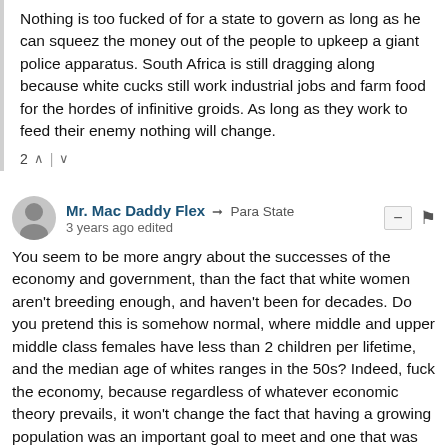Nothing is too fucked of for a state to govern as long as he can squeez the money out of the people to upkeep a giant police apparatus. South Africa is still dragging along because white cucks still work industrial jobs and farm food for the hordes of infinitive groids. As long as they work to feed their enemy nothing will change.
2 ↑ | ↓
Mr. Mac Daddy Flex → Para State
3 years ago edited
You seem to be more angry about the successes of the economy and government, than the fact that white women aren't breeding enough, and haven't been for decades. Do you pretend this is somehow normal, where middle and upper middle class females have less than 2 children per lifetime, and the median age of whites ranges in the 50s? Indeed, fuck the economy, because regardless of whatever economic theory prevails, it won't change the fact that having a growing population was an important goal to meet and one that was being satisfied